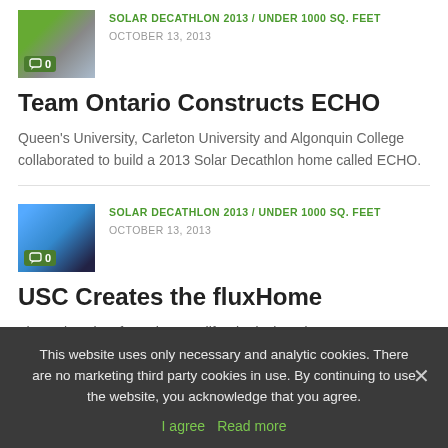[Figure (photo): Thumbnail image with purple/green flowers, with comment badge showing 0]
SOLAR DECATHLON 2013 / UNDER 1000 SQ. FEET
OCTOBER 13, 2013
Team Ontario Constructs ECHO
Queen's University, Carleton University and Algonquin College collaborated to build a 2013 Solar Decathlon home called ECHO.
[Figure (photo): Thumbnail image of a modern building with solar panels or blue/dark facade, comment badge showing 0]
SOLAR DECATHLON 2013 / UNDER 1000 SQ. FEET
OCTOBER 13, 2013
USC Creates the fluxHome
The University of Southern California designed a
This website uses only necessary and analytic cookies. There are no marketing third party cookies in use. By continuing to use the website, you acknowledge that you agree.
I agree  Read more